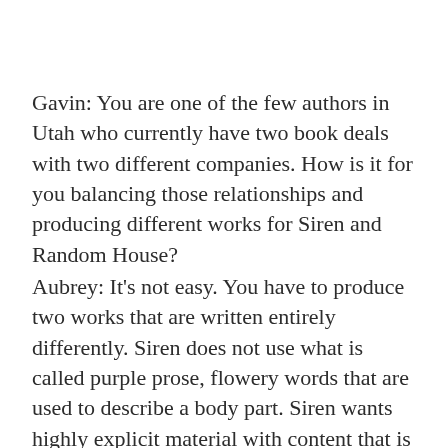Gavin: You are one of the few authors in Utah who currently have two book deals with two different companies. How is it for you balancing those relationships and producing different works for Siren and Random House?
Aubrey: It's not easy. You have to produce two works that are written entirely differently. Siren does not use what is called purple prose, flowery words that are used to describe a body part. Siren wants highly explicit material with content that is